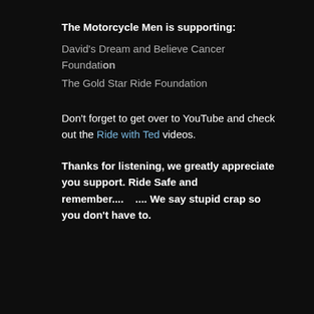The Motorcycle Men is supporting:
David's Dream and Believe Cancer Foundation
The Gold Star Ride Foundation
Don't forget to get over to YouTube and check out the Ride with Ted videos.
Thanks for listening, we greatly appreciate you support. Ride Safe and remember....    .... We say stupid crap so you don't have to.